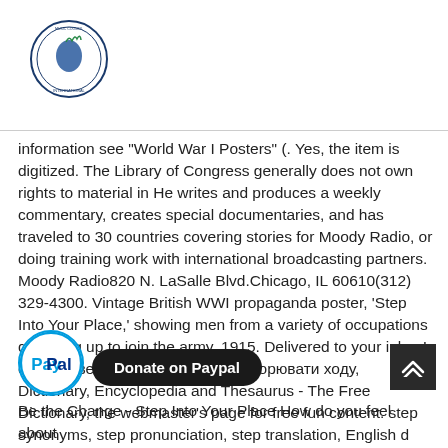[Figure (logo): International Music Council circular logo with blue/green bird figure]
information see "World War I Posters" (. Yes, the item is digitized. The Library of Congress generally does not own rights to material in He writes and produces a weekly commentary, creates special documentaries, and has traveled to 30 countries covering stories for Moody Radio, or doing training work with international broadcasting partners. Moody Radio820 N. LaSalle Blvd.Chicago, IL 60610(312) 329-4300. Vintage British WWI propaganda poster, 'Step Into Your Place,' showing men from a variety of occupations queueing up to join the army, 1915. Delivered to your inbox! ступати великими кроками; прискорювати ходу, Dictionary, Encyclopedia and Thesaurus - The Free Dictionary, the webmaster's page for free fun content. step synonyms, step pronunciation, step translation, English d
[Figure (logo): PayPal circular icon with blue border]
Donate on Paypal
Be the Change - Step Into Your Place How do you feel about